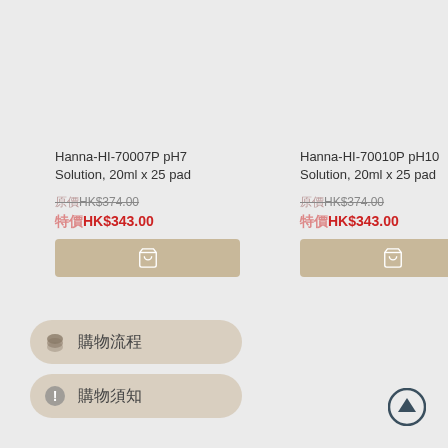Hanna-HI-70007P pH7 Solution, 20ml x 25 pad
原價HK$374.00
特價HK$343.00
Hanna-HI-70010P pH10 Solution, 20ml x 25 pad
原價HK$374.00
特價HK$343.00
購物流程
購物須知